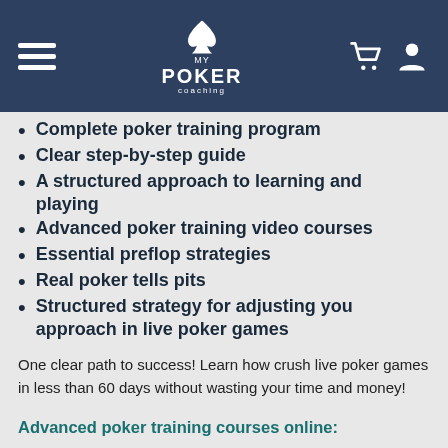My Poker Coaching
Complete poker training program
Clear step-by-step guide
A structured approach to learning and playing
Advanced poker training video courses
Essential preflop strategies
Real poker tells pits
Structured strategy for adjusting you approach in live poker games
One clear path to success! Learn how crush live poker games in less than 60 days without wasting your time and money!
Advanced poker training courses online: